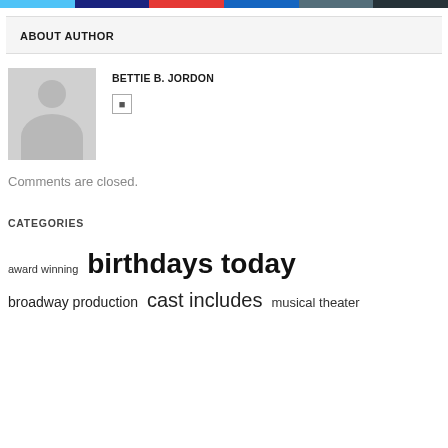[Figure (other): Row of colored navigation bar segments: light blue, dark blue, red/pink, medium blue, dark blue-gray, very dark navy]
ABOUT AUTHOR
[Figure (illustration): Generic gray silhouette avatar placeholder image]
BETTIE B. JORDON
Comments are closed.
CATEGORIES
award winning  birthdays today  broadway production  cast includes  musical theater